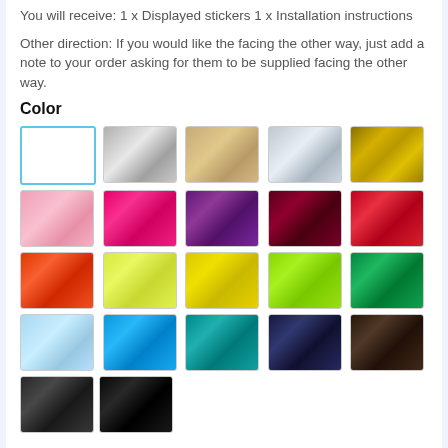You will receive: 1 x Displayed stickers 1 x Installation instructions
Other direction: If you would like the facing the other way, just add a note to your order asking for them to be supplied facing the other way.
Color
[Figure (other): Color swatch grid showing 22 color options for stickers: white (selected), silver, light gold, chrome, gold, pink, hot pink, purple, dark red, red, orange, light yellow, yellow, lime green, green, light blue, blue, teal, navy, brown, dark gray, black]